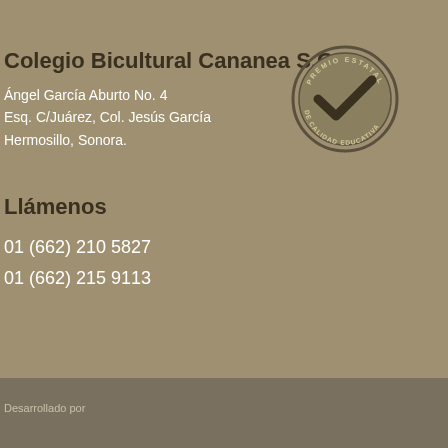Colegio Bicultural Cananea S.C.
Ángel García Aburto No. 4
Esq. C/Juárez, Col. Jesús García
Hermosillo, Sonora.
[Figure (logo): Premio Estatal de Calidad Educativa circular badge/seal with checkmark]
Llámenos
01 (662) 210 5827
01 (662) 215 9113
Desarrollado por Sublime